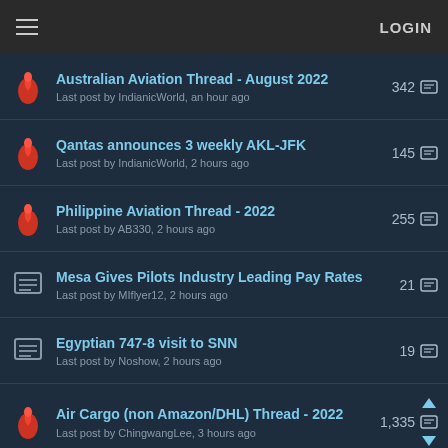LOGIN
Australian Aviation Thread - August 2022
Last post by IndianicWorld, an hour ago
342
Qantas announces 3 weekly AKL-JFK
Last post by IndianicWorld, 2 hours ago
145
Philippine Aviation Thread - 2022
Last post by AB330, 2 hours ago
255
Mesa Gives Pilots Industry Leading Pay Rates
Last post by MIflyer12, 2 hours ago
21
Egyptian 747-8 visit to SNN
Last post by Noshow, 2 hours ago
19
Air Cargo (non Amazon/DHL) Thread - 2022
Last post by ChingwangLee, 3 hours ago
1,335